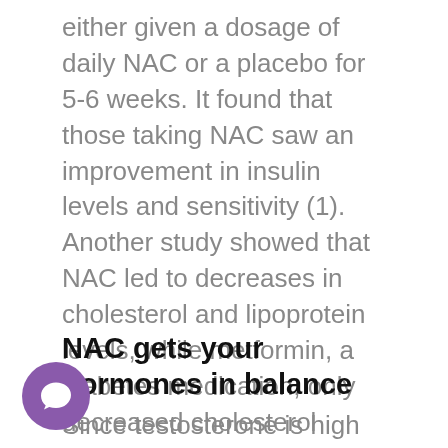either given a dosage of daily NAC or a placebo for 5-6 weeks. It found that those taking NAC saw an improvement in insulin levels and sensitivity (1). Another study showed that NAC led to decreases in cholesterol and lipoprotein levels, while metformin, a diabetes medication, only decreased cholesterol levels (2). Again and again NAC is proven to be a trusted supplement for balancing your insulin levels.
NAC gets your hormones in balance
Since testosterone is high in women suffering